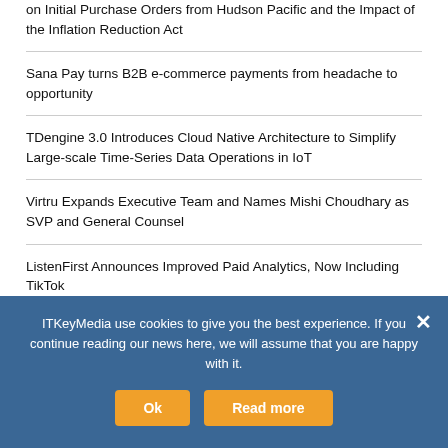on Initial Purchase Orders from Hudson Pacific and the Impact of the Inflation Reduction Act
Sana Pay turns B2B e-commerce payments from headache to opportunity
TDengine 3.0 Introduces Cloud Native Architecture to Simplify Large-scale Time-Series Data Operations in IoT
Virtru Expands Executive Team and Names Mishi Choudhary as SVP and General Counsel
ListenFirst Announces Improved Paid Analytics, Now Including TikTok
Casa Systems and Google Cloud to Advance Cloud-Native Software and Service Offerings
ITKeyMedia use cookies to give you the best experience. If you continue reading our news here, we will assume that you are happy with it.